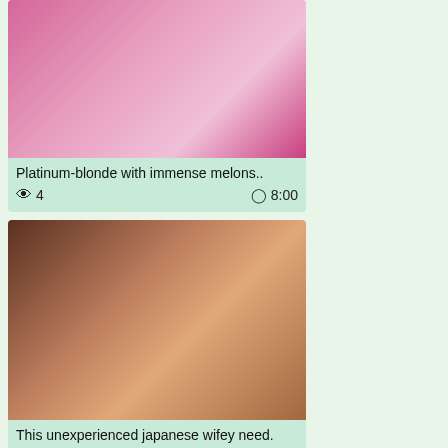[Figure (photo): Video thumbnail showing a blonde woman in pink lingerie]
Platinum-blonde with immense melons..
👁 4   🕐 8:00
[Figure (photo): Video thumbnail showing explicit adult content]
This unexperienced japanese wifey need.
👁 5   🕐 3:55
[Figure (photo): Partial video thumbnail at bottom of page]